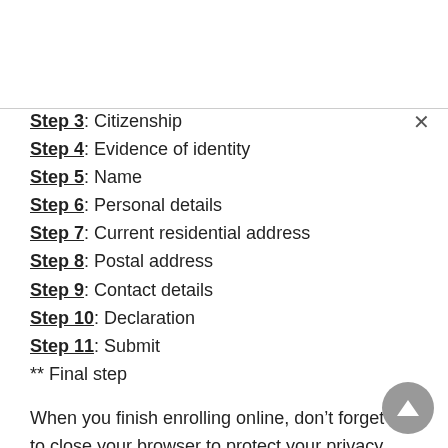Step 3: Citizenship
Step 4: Evidence of identity
Step 5: Name
Step 6: Personal details
Step 7: Current residential address
Step 8: Postal address
Step 9: Contact details
Step 10: Declaration
Step 11: Submit
** Final step
When you finish enrolling online, don’t forget to close your browser to protect your privacy.